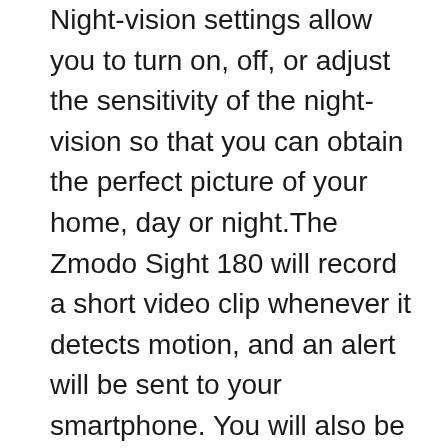Night-vision settings allow you to turn on, off, or adjust the sensitivity of the night-vision so that you can obtain the perfect picture of your home, day or night.The Zmodo Sight 180 will record a short video clip whenever it detects motion, and an alert will be sent to your smartphone. You will also be able to download video clips to your phone if you want to save footage or share moments with others. Easily toggle alert schedules to determine when you want to receive alerts, customize motion detection zones, and more.Videos can be viewed from both iOS or Android mobile devices and PC website. You can share the devices with your family members or friends , so they can access the live footage of the cameras, receive motion alerts and operate the other functions of the devices with customizable sharing permissions.Motion alert clips are saved in the cloud